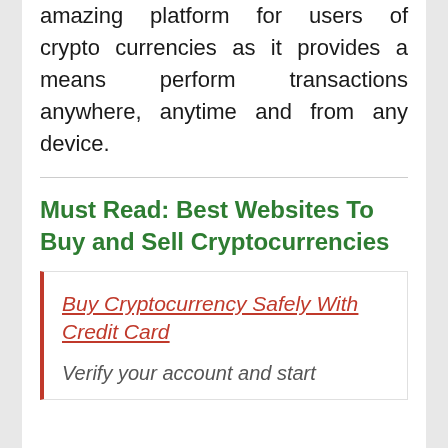amazing platform for users of crypto currencies as it provides a means perform transactions anywhere, anytime and from any device.
Must Read: Best Websites To Buy and Sell Cryptocurrencies
Buy Cryptocurrency Safely With Credit Card
Verify your account and start